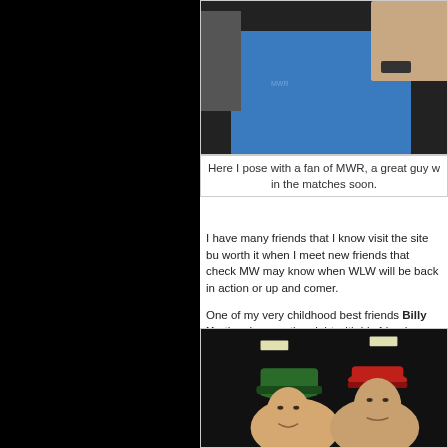[Figure (photo): Photo of a person in a blue shirt, cropped, top portion visible with arm/wristwatch]
Here I pose with a fan of MWR, a great guy w... in the matches soon.
I have many friends that I know visit the site bu... worth it when I meet new friends that check MW... may know when WLW will be back in action or... up and comer.
One of my very childhood best friends Billy Ho... the show on the night with his friend Steve. Bil... in women once again when the love bug hit him... Schoolgirl" Stacey O'Brien.
[Figure (photo): Two people posing together, one wearing a green plaid hat and one wearing a red cap, taken in a dark venue with ceiling lights visible]